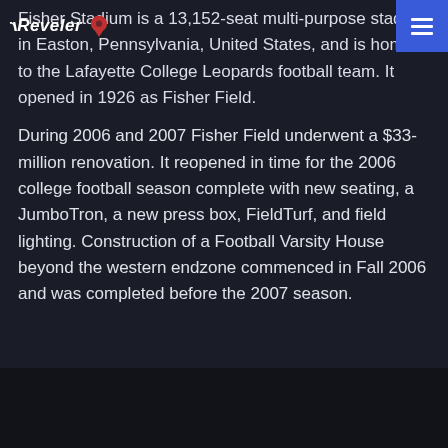Reveler [logo with pin icon and menu button]
Fisher Stadium is a 13,152-seat multi-purpose stadium in Easton, Pennsylvania, United States, and is home to the Lafayette College Leopards football team. It opened in 1926 as Fisher Field.

During 2006 and 2007 Fisher Field underwent a $33-million renovation. It reopened in time for the 2006 college football season complete with new seating, a JumboTron, a new press box, FieldTurf, and field lighting. Construction of a Football Varsity House beyond the western endzone commenced in Fall 2006 and was completed before the 2007 season.